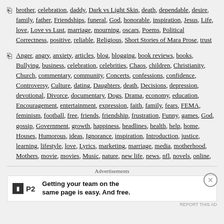brother, celebration, daddy, Dark vs Light Skin, death, dependable, desire, family, father, Friendships, funeral, God, honorable, inspiration, Jesus, Life, love, Love vs Lust, marriage, mourning, oscars, Poems, Political Correctness, positive, reliable, Religious, Short Stories of Mara Prose, trust
Anger, angry, anxiety, articles, blog, blogging, book reviews, books, Bullying, business, celebration, celebrities, Chaos, children, Christianity, Church, commentary, community, Concerts, confessions, confidence, Controversy, Culture, dating, Daughters, death, Decisions, depression, devotional, Divorce, documentary, Dogs, Drama, economy, education, Encouragement, entertainment, expression, faith, family, fears, FEMA, feminism, football, free, friends, friendship, frustration, Funny, games, God, gossip, Government, growth, happiness, headlines, health, help, home, Houses, Humorous, ideas, Ignorance, inspiration, Introduction, justice, learning, lifestyle, love, Lyrics, marketing, marriage, media, motherhood, Mothers, movie, movies, Music, nature, new life, news, nfl, novels, online,
Advertisements
[Figure (other): P2 advertisement banner: Getting your team on the same page is easy. And free.]